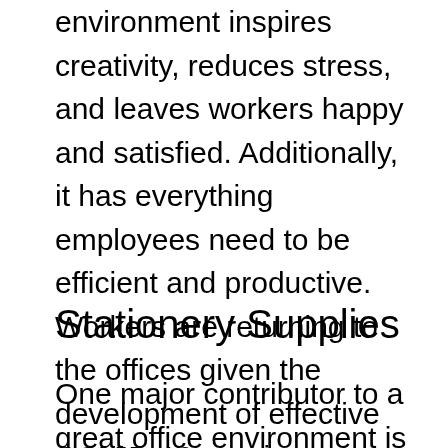environment inspires creativity, reduces stress, and leaves workers happy and satisfied. Additionally, it has everything employees need to be efficient and productive. Workers are returning to the offices given the development of effective COVID-19 vaccines. Therefore, business owners must streamline their workspaces to meet their needs. This article explores three tools for a great office environment.
Stationery Supplies
One major contributor to a great office environment is ensuring your employees have office stationery items required to work. Having